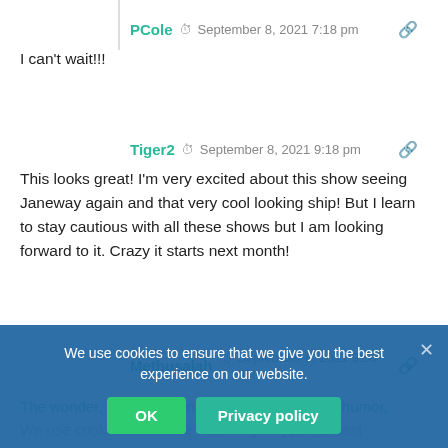PCole  September 8, 2021 7:18 pm
I can't wait!!!
Tiger2  September 8, 2021 9:18 pm
This looks great! I'm very excited about this show seeing Janeway again and that very cool looking ship! But I learn to stay cautious with all these shows but I am looking forward to it. Crazy it starts next month!
Methusalah  September 8, 2021 9:56 pm
The wonder, the storytelling, the fun, the earned humor, the criticism of one's instead of we and down Shaman does that holding fan service gimmicks to a minimum — now that's what a Star in should look like!
We use cookies to ensure that we give you the best experience on our website.